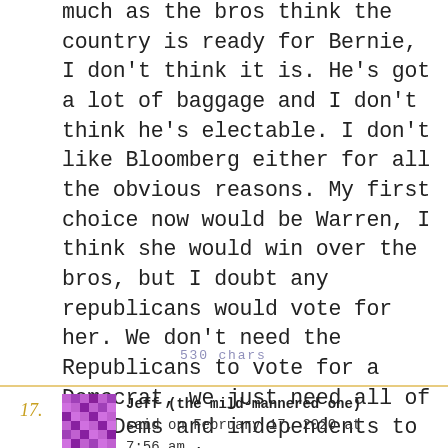much as the bros think the country is ready for Bernie, I don't think it is. He's got a lot of baggage and I don't think he's electable. I don't like Bloomberg either for all the obvious reasons. My first choice now would be Warren, I think she would win over the bros, but I doubt any republicans would vote for her. We don't need the Republicans to vote for a Democrat, we just need all of the Dems and independents to get out and vote.
530 chars
17.
Jeff (the mild-mannered one) said on February 17, 2020 at 7:56 am